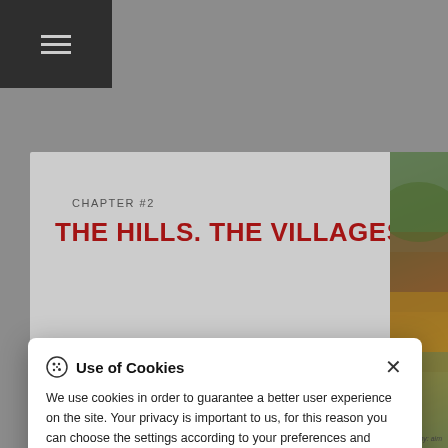[Figure (screenshot): Website screenshot showing hamburger menu icon in dark top bar, grey background, white content card with chapter heading 'CHAPTER #2' and red title 'THE HILLS. THE VILLAGES', landscape photo strip on right edge, and a cookie consent modal dialog overlaid on top.]
CHAPTER #2
THE HILLS. THE VILLAGES
Use of Cookies
We use cookies in order to guarantee a better user experience on the site. Your privacy is important to us, for this reason you can choose the settings according to your preferences and change them at any time through the "Cookie settings" button in the site's footer.
Cookie settings
Accept
Settings
Photo by: aim